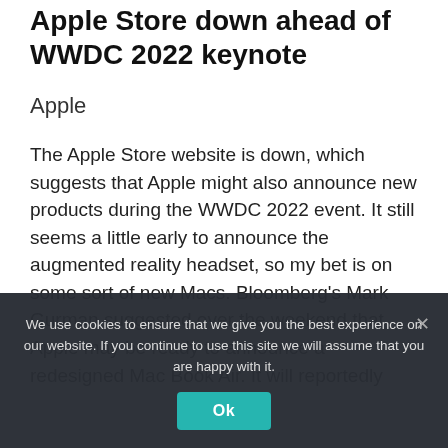Apple Store down ahead of WWDC 2022 keynote
Apple
The Apple Store website is down, which suggests that Apple might also announce new products during the WWDC 2022 event. It still seems a little early to announce the augmented reality headset, so my bet is on some sort of new Macs. Bloomberg's Mark Gurman suggested over the weekend that Apple may be ready to announce a redesigned Mac Book Air. It will reportedly
We use cookies to ensure that we give you the best experience on our website. If you continue to use this site we will assume that you are happy with it.